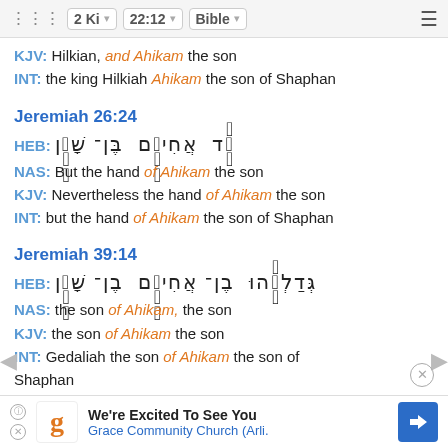2 Ki  22:12  Bible
KJV: Hilkian, and Ahikam the son
INT: the king Hilkiah Ahikam the son of Shaphan
Jeremiah 26:24
HEB: [Hebrew text]
NAS: But the hand of Ahikam the son
KJV: Nevertheless the hand of Ahikam the son
INT: but the hand of Ahikam the son of Shaphan
Jeremiah 39:14
HEB: [Hebrew text]
NAS: the son of Ahikam, the son
KJV: the son of Ahikam the son
INT: Gedaliah the son of Ahikam the son of Shaphan
Jere...
HEB: ...
[Figure (screenshot): Ad banner: We're Excited To See You - Grace Community Church (Arli.)]